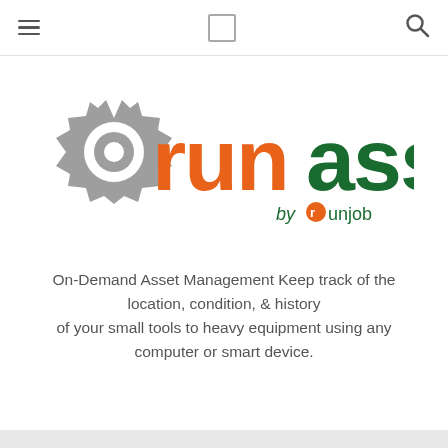[Figure (logo): RunAsset logo: a gray gear icon on the left, then the word 'run' in orange bold rounded font, 'asset' in dark green bold font, and 'by runjob' in smaller text below right, with runjob having an orange stylized 'r' icon]
On-Demand Asset Management Keep track of the location, condition, & history of your small tools to heavy equipment using any computer or smart device.